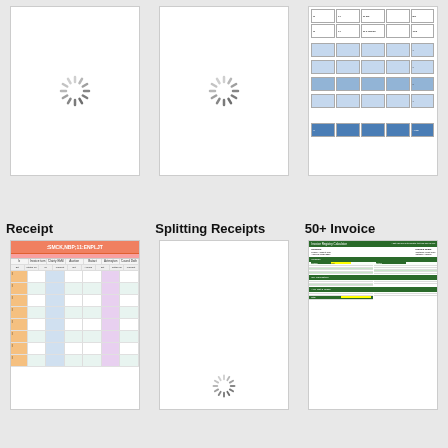[Figure (screenshot): Loading spinner placeholder for Receipt template thumbnail]
[Figure (screenshot): Loading spinner placeholder for Splitting Receipts template thumbnail]
[Figure (table-as-image): Spreadsheet table thumbnail with blue-shaded rows and header row, showing invoice/budget tracker data]
Receipt
[Figure (table-as-image): Receipt spreadsheet thumbnail with orange header, pink sub-header, and alternating teal/white rows with orange, blue, purple column sections]
Splitting Receipts
[Figure (screenshot): Loading spinner placeholder for Splitting Receipts bottom thumbnail]
50+ Invoice
[Figure (table-as-image): Dense green-header invoice spreadsheet thumbnail with yellow and green highlighted cells, multiple sections]